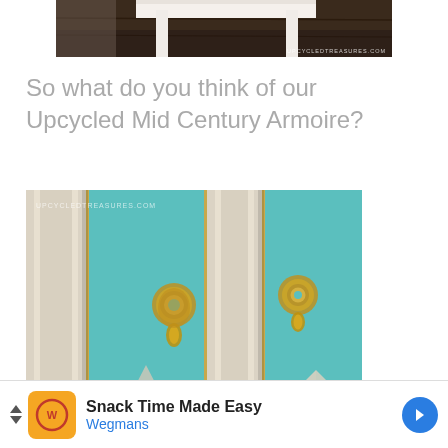[Figure (photo): Partial photo showing bottom of a piece of furniture with white legs on dark wood floor, watermark UPCYCLEDTREASURES.COM in bottom right]
So what do you think of our Upcycled Mid Century Armoire?
[Figure (photo): Close-up photo of a teal/turquoise painted mid century armoire with cream/white trim and gold decorative hardware door pulls, watermark UPCYCLEDTREASURES.COM in top left]
Snack Time Made Easy
Wegmans